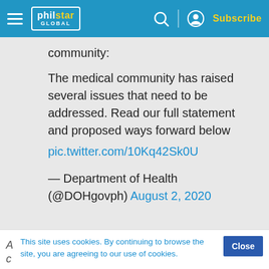philstar GLOBAL — Subscribe
community:
The medical community has raised several issues that need to be addressed. Read our full statement and proposed ways forward below pic.twitter.com/10Kq42Sk0U — Department of Health (@DOHgovph) August 2, 2020
This site uses cookies. By continuing to browse the site, you are agreeing to our use of cookies.